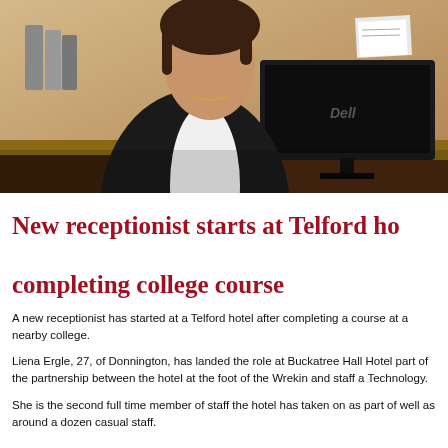[Figure (photo): A woman receptionist standing at a hotel reception desk with a computer monitor in front of her, wearing a black jacket and white shirt. Office/hotel reception setting with wooden desk and binders visible.]
New receptionist starts at Telford hotel after completing college course
A new receptionist has started at a Telford hotel after completing a course at a nearby college.
Liena Ergle, 27, of Donnington, has landed the role at Buckatree Hall Hotel as part of the partnership between the hotel at the foot of the Wrekin and staff at Technology.
She is the second full time member of staff the hotel has taken on as part of well as around a dozen casual staff.